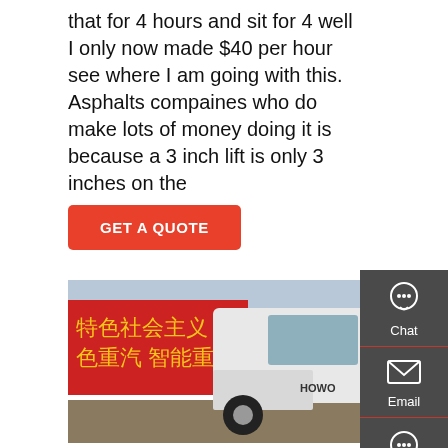that for 4 hours and sit for 4 well I only now made $40 per hour see where I am going with this. Asphalts compaines who do make lots of money doing it is because a 3 inch lift is only 3 inches on the
GET A QUOTE
[Figure (photo): White HOWO semi-truck/tractor unit parked in a yard with Chinese text banners in the background]
[Figure (infographic): Sidebar with Chat, Email, and Contact icons on dark grey background]